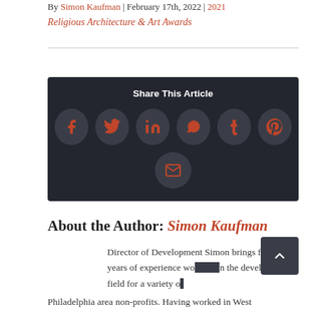By Simon Kaufman | February 17th, 2022 | 2021 Religious Architecture & Art Awards
[Figure (infographic): Share This Article panel with dark background containing social media icon circles: Facebook, Twitter, LinkedIn, WhatsApp, Tumblr, Pinterest, and Email]
About the Author: Simon Kaufman
Director of Development Simon brings fifteen years of experience working in the development field for a variety of Philadelphia area non-profits. Having worked in West